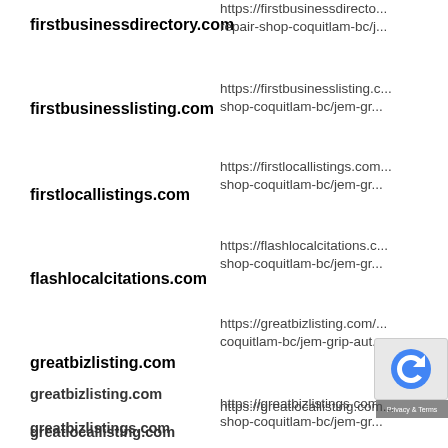firstbusinessdirectory.com
https://firstbusinessdirecto... repair-shop-coquitlam-bc/j...
firstbusinesslisting.com
https://firstbusinesslisting.c... shop-coquitlam-bc/jem-gr...
firstlocallistings.com
https://firstlocallistings.com... shop-coquitlam-bc/jem-gr...
flashlocalcitations.com
https://flashlocalcitations.c... shop-coquitlam-bc/jem-gr...
greatbizlisting.com
https://greatbizlisting.com/... coquitlam-bc/jem-grip-aut...
greatbizlistings.com
https://greatbizlistings.com... shop-coquitlam-bc/jem-gr...
greatlocallisting.com
https://greatlocallisting.com...